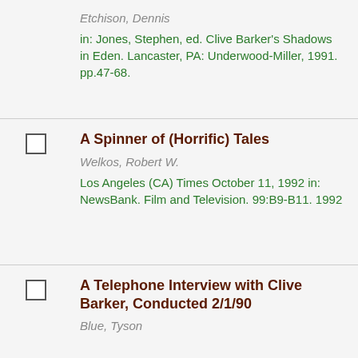Etchison, Dennis
in: Jones, Stephen, ed. Clive Barker's Shadows in Eden. Lancaster, PA: Underwood-Miller, 1991. pp.47-68.
A Spinner of (Horrific) Tales
Welkos, Robert W.
Los Angeles (CA) Times October 11, 1992 in: NewsBank. Film and Television. 99:B9-B11. 1992
A Telephone Interview with Clive Barker, Conducted 2/1/90
Blue, Tyson